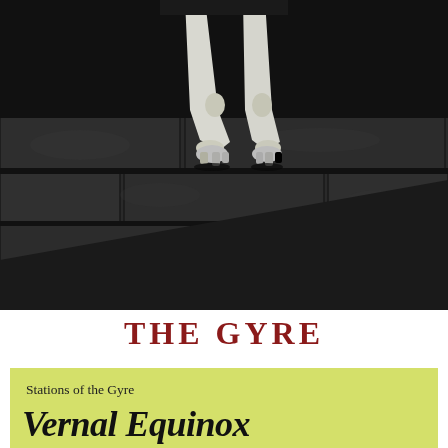[Figure (photo): Black and white photograph showing animal legs (possibly a dog or wolf) standing on dark stone pavement, viewed from below. The upper portion shows the animal's white/pale legs and lower body against a dark background. A diagonal dark triangular shape cuts across the lower portion of the image.]
THE GYRE
Stations of the Gyre
Vernal Equinox